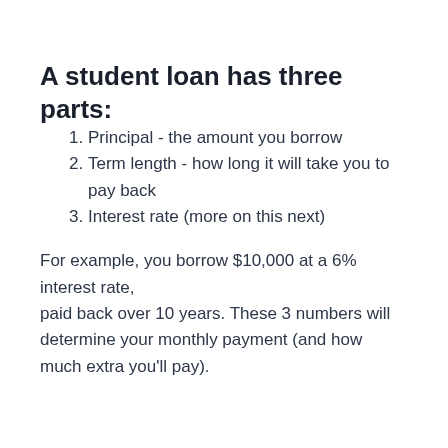A student loan has three parts:
Principal - the amount you borrow
Term length - how long it will take you to pay back
Interest rate (more on this next)
For example, you borrow $10,000 at a 6% interest rate, paid back over 10 years. These 3 numbers will determine your monthly payment (and how much extra you'll pay).